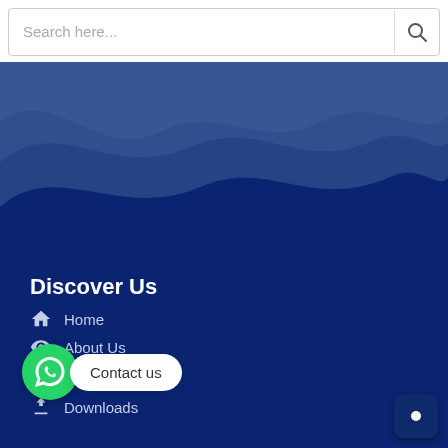[Figure (screenshot): Search bar at top with 'Search here...' placeholder text and search icon]
[Figure (illustration): Layered wave illustration in blue and light blue tones transitioning to dark navy background]
Discover Us
Home
About Us
Contact us
Downloads
[Figure (infographic): WhatsApp green circle button with 'Contact us' white pill label]